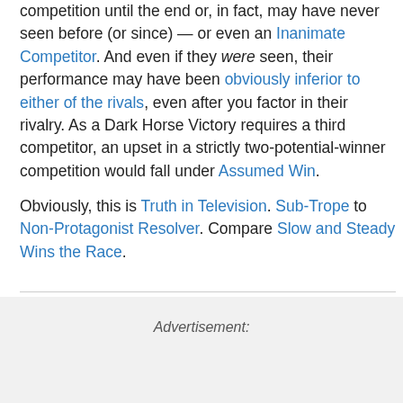competition until the end or, in fact, may have never seen before (or since) — or even an Inanimate Competitor. And even if they were seen, their performance may have been obviously inferior to either of the rivals, even after you factor in their rivalry. As a Dark Horse Victory requires a third competitor, an upset in a strictly two-potential-winner competition would fall under Assumed Win.
Obviously, this is Truth in Television. Sub-Trope to Non-Protagonist Resolver. Compare Slow and Steady Wins the Race.
Advertisement: